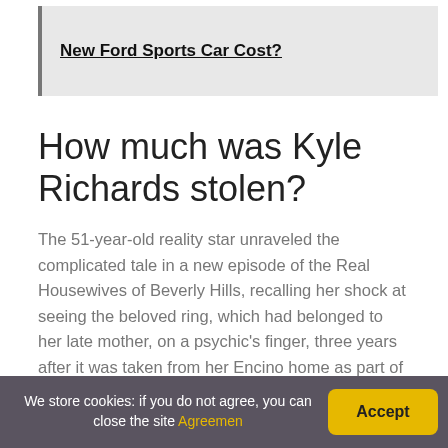[Figure (other): Advertisement banner with linked text 'New Ford Sports Car Cost?' on gray background with left border]
How much was Kyle Richards stolen?
The 51-year-old reality star unraveled the complicated tale in a new episode of the Real Housewives of Beverly Hills, recalling her shock at seeing the beloved ring, which had belonged to her late mother, on a psychic's finger, three years after it was taken from her Encino home as part of a $1 million heist.
We store cookies: if you do not agree, you can close the site Agreemen